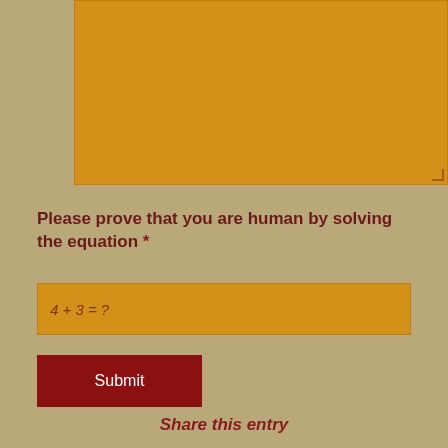[Figure (other): A large textarea input field with golden/amber background color and a resize handle in the bottom-right corner]
Please prove that you are human by solving the equation *
[Figure (other): A text input field with golden/amber background showing placeholder text '4 + 3 = ?']
[Figure (other): A dark red Submit button]
Share this entry